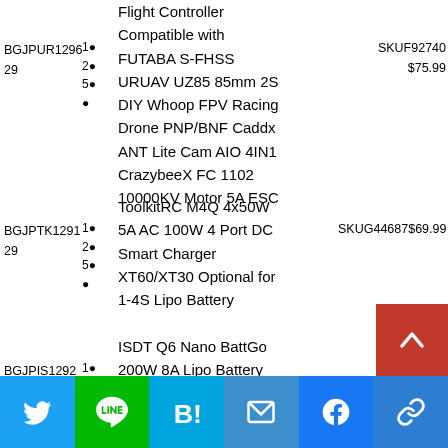BGJPUR1296 29 1● 2● 5● Flight Controller Compatible with FUTABA S-FHSS URUAV UZ85 85mm 2S DIY Whoop FPV Racing Drone PNP/BNF Caddx ANT Lite Cam AIO 4IN1 CrazybeeX FC 1102 10000KV Motor 5A ESC SKUF92740 $75.99
BGJPTK1291 29 1● 2● 5● ToolkitRC M4Q 4x50W 5A AC 100W 4 Port DC Smart Charger XT60/XT30 Optional for 1-4S Lipo Battery SKUG44687 $69.99
BGJPIS1292 29 1● 2● 5● ISDT Q6 Nano BattGo 200W 8A Lipo Battery Charger Colorful Pocket Battery SKUE95527